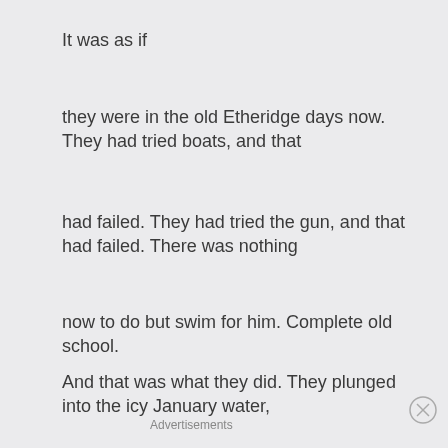It was as if
they were in the old Etheridge days now. They had tried boats, and that
had failed. They had tried the gun, and that had failed. There was nothing
now to do but swim for him. Complete old school.
And that was what they did. They plunged into the icy January water,
Advertisements